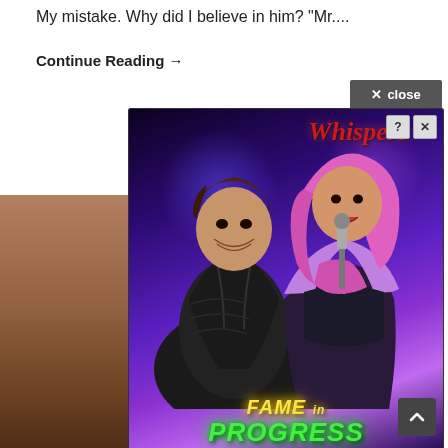My mistake. Why did I believe in him? "Mr....
Continue Reading →
[Figure (illustration): Advertisement overlay for a mobile/web game called 'Whispers: Fame in Progress'. Shows two illustrated characters: a dark-haired man in a leather jacket and a pink-haired woman singing into a microphone, set against a purple/blue glowing stage background. Text reads 'Whispers' in red at top right, and 'FAME in PROGRESS' in stylized yellow/green letters at the bottom. Has a close button (X close) in upper right and help/close icons (? X) on the ad image.]
Chap
SangkiBeak stopped the time in the black and white world. However, how was he going to find the guy even with time stopped? Didn't he only have one clue that 'the guy was here'? Sangki Beak had two solutions for that. First, finding someone with a mask type artifact. When I heard about